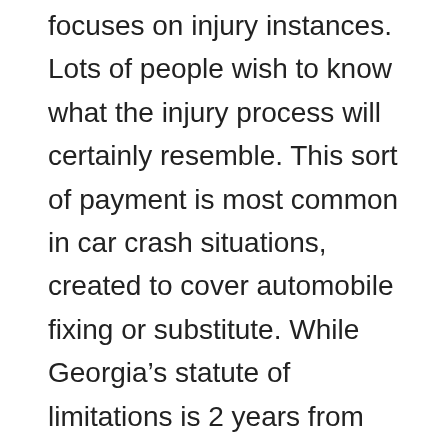focuses on injury instances. Lots of people wish to know what the injury process will certainly resemble. This sort of payment is most common in car crash situations, created to cover automobile fixing or substitute. While Georgia’s statute of limitations is 2 years from your injury date, we recommend calling The Mike Hostilo Law practice quickly after your accident accident.
Before signing up with the Firm, she